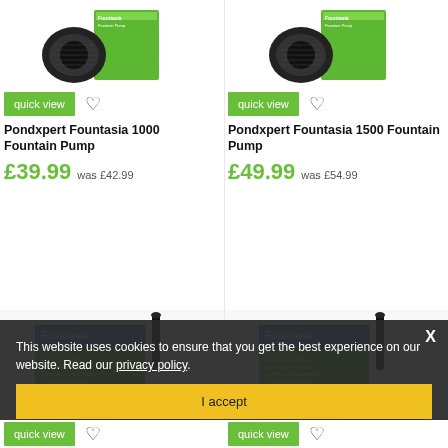[Figure (photo): Pondxpert Fountasia 1000 Fountain Pump product photo - black pump with green box]
[Figure (photo): Pondxpert Fountasia 1500 Fountain Pump product photo - black pump with green box]
quick view
quick view
Pondxpert Fountasia 1000 Fountain Pump
Pondxpert Fountasia 1500 Fountain Pump
£39.99 was £42.99
£49.99 was £54.99
[Figure (photo): Pondxpert Fountasia Fountain Pump product box with pump - left column lower]
[Figure (photo): Pondxpert Fountasia Fountain Pump product box with pump - right column lower]
This website uses cookies to ensure that you get the best experience on our website. Read our privacy policy.
I accept
quick view
quick view